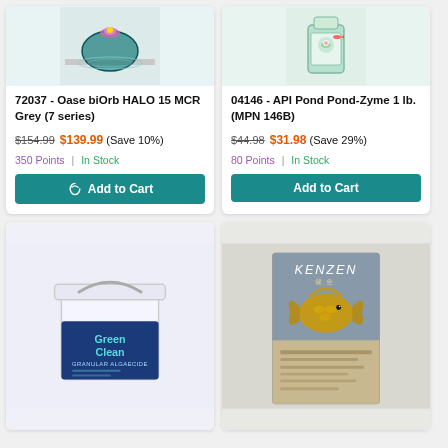[Figure (photo): Oase biOrb HALO 15 MCR Grey fish tank with flower on top]
72037 - Oase biOrb HALO 15 MCR Grey (7 series)
$154.99 $139.99 (Save 10%)
350 Points | In Stock
Add to Cart
[Figure (photo): API Pond Pond-Zyme 1 lb. product bottle]
04146 - API Pond Pond-Zyme 1 lb. (MPN 146B)
$44.98 $31.98 (Save 29%)
80 Points | In Stock
Add to Cart
[Figure (photo): GreenClean Granular Algaecide bucket product]
[Figure (photo): Kenzen koi food product box with golden koi fish illustration]